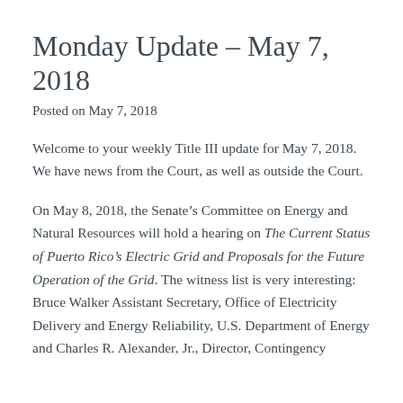Monday Update – May 7, 2018
Posted on May 7, 2018
Welcome to your weekly Title III update for May 7, 2018. We have news from the Court, as well as outside the Court.
On May 8, 2018, the Senate's Committee on Energy and Natural Resources will hold a hearing on The Current Status of Puerto Rico's Electric Grid and Proposals for the Future Operation of the Grid. The witness list is very interesting: Bruce Walker Assistant Secretary, Office of Electricity Delivery and Energy Reliability, U.S. Department of Energy and Charles R. Alexander, Jr., Director, Contingency